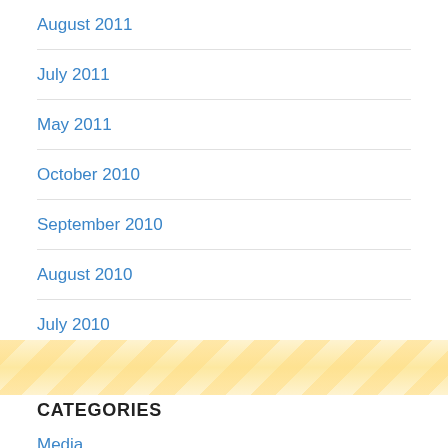August 2011
July 2011
May 2011
October 2010
September 2010
August 2010
July 2010
CATEGORIES
Media